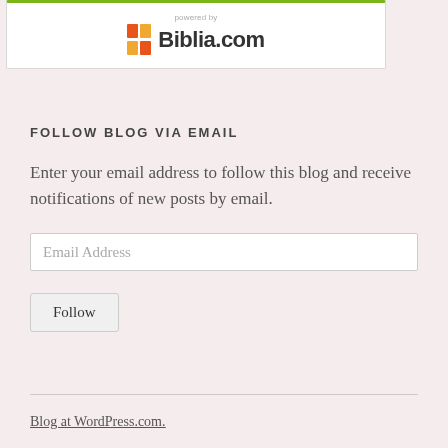[Figure (logo): Biblia.com logo widget with green top border, showing 'powered by' text above the Biblia.com logo with colored icon]
FOLLOW BLOG VIA EMAIL
Enter your email address to follow this blog and receive notifications of new posts by email.
Email Address
Follow
Blog at WordPress.com.